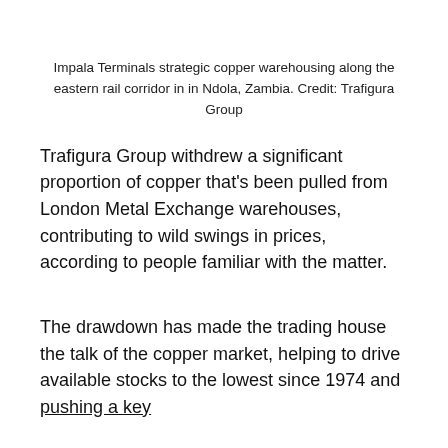Impala Terminals strategic copper warehousing along the eastern rail corridor in in Ndola, Zambia. Credit: Trafigura Group
Trafigura Group withdrew a significant proportion of copper that's been pulled from London Metal Exchange warehouses, contributing to wild swings in prices, according to people familiar with the matter.
The drawdown has made the trading house the talk of the copper market, helping to drive available stocks to the lowest since 1974 and pushing a key